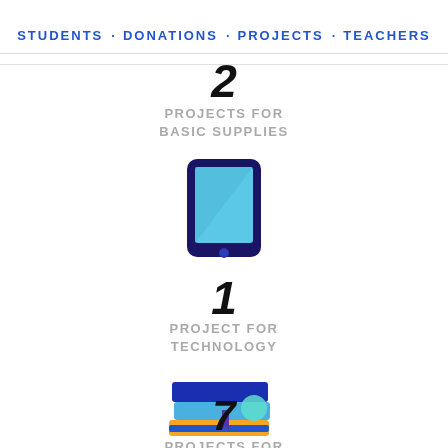STUDENTS · DONATIONS · PROJECTS · TEACHERS
2
PROJECTS FOR
BASIC SUPPLIES
[Figure (illustration): Flat icon of a tablet device with a blue/cyan screen]
1
PROJECT FOR
TECHNOLOGY
[Figure (illustration): Flat icon of a stack of books with a bookmark and a teal circle]
7
PROJECTS FOR